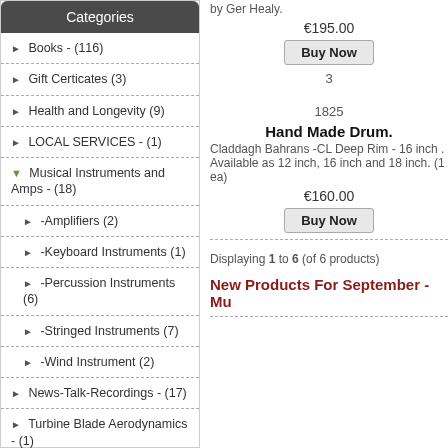Categories
Books - (116)
Gift Certicates (3)
Health and Longevity (9)
LOCAL SERVICES - (1)
Musical Instruments and Amps - (18)
-Amplifiers (2)
-Keyboard Instruments (1)
-Percussion Instruments (6)
-Stringed Instruments (7)
-Wind Instrument (2)
News-Talk-Recordings - (17)
Turbine Blade Aerodynamics - (1)
New Products ...
All Products ...
by Ger Healy.
€195.00
Buy Now
3
1825
Hand Made Drum.
Claddagh Bahrans -CL Deep Rim - 16 inch . Available as 12 inch, 16 inch and 18 inch. (1 ea)
€160.00
Buy Now
Displaying 1 to 6 (of 6 products)
New Products For September - Mu